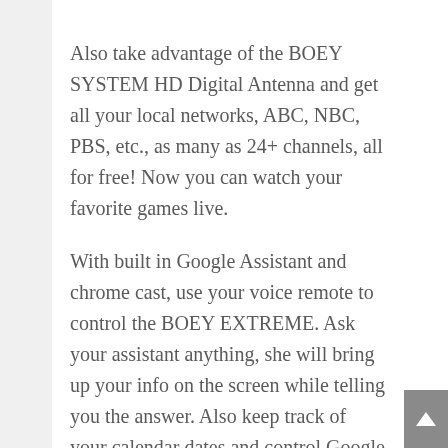Also take advantage of the BOEY SYSTEM HD Digital Antenna and get all your local networks, ABC, NBC, PBS, etc., as many as 24+ channels, all for free! Now you can watch your favorite games live.
With built in Google Assistant and chrome cast, use your voice remote to control the BOEY EXTREME. Ask your assistant anything, she will bring up your info on the screen while telling you the answer. Also keep track of your calendar dates and control Google Home Applications, turn off light, etc..
Also Get access to all your paid services and pay only for the premium channels you want saving you lots of money. All your favorite